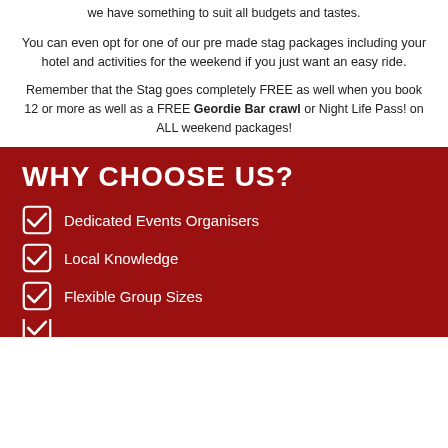we have something to suit all budgets and tastes.
You can even opt for one of our pre made stag packages including your hotel and activities for the weekend if you just want an easy ride.
Remember that the Stag goes completely FREE as well when you book 12 or more as well as a FREE Geordie Bar crawl or Night Life Pass! on ALL weekend packages!
WHY CHOOSE US?
Dedicated Events Organisers
Local Knowledge
Flexible Group Sizes
(partially visible)